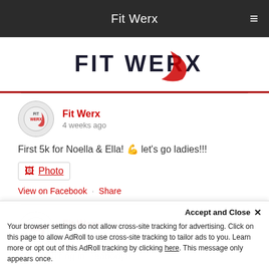Fit Werx
[Figure (logo): Fit Werx logo with red swoosh]
Fit Werx - 4 weeks ago
First 5k for Noella & Ella! 💪 let's go ladies!!!
Photo
View on Facebook · Share
Fit Werx - 1 month ago
We are hiring in Peabody!!!
Accept and Close ✕ Your browser settings do not allow cross-site tracking for advertising. Click on this page to allow AdRoll to use cross-site tracking to tailor ads to you. Learn more or opt out of this AdRoll tracking by clicking here. This message only appears once.